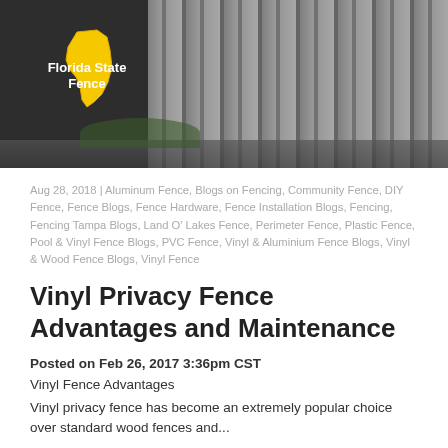[Figure (photo): Header photo of a white vinyl privacy fence with a Florida State Fence logo overlay (yellow Florida state outline with bold white text)]
Aug 28, 2018 | Aluminum Fence, Blogs on Fencing, Community Fence, DIY Fence, Fence Blogs, Fence Hardware, Fence Installation Blogs, Fencing, Fencing Tampa Blogs, Land O' Lakes Fence, Perimeter Fence, Plastic Fence, Pool & Vinyl Fence Blogs, PVC Fence, Vinyl & Aluminium Fence Blogs, Vinyl & Wood Fence Blogs, Vinyl Fence
Vinyl Privacy Fence Advantages and Maintenance
Posted on Feb 26, 2017 3:36pm CST
Vinyl Fence Advantages
Vinyl privacy fence has become an extremely popular choice over standard wood fences and...
Read More